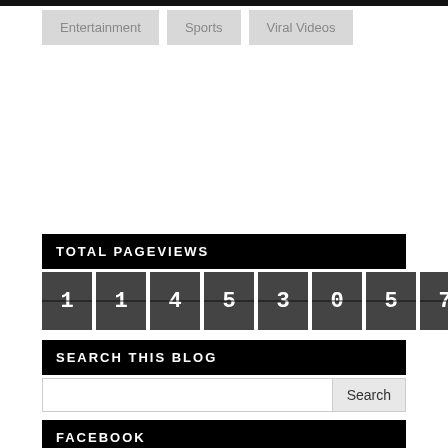Entertainment
Sports
Viral Videos
TOTAL PAGEVIEWS
[Figure (other): Digital counter showing page view count: 114530571]
SEARCH THIS BLOG
FACEBOOK